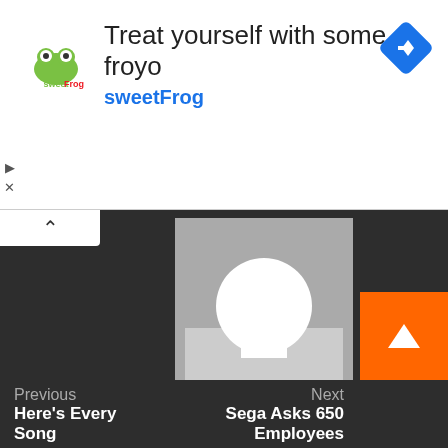[Figure (screenshot): Advertisement banner for sweetFrog frozen yogurt. Shows sweetFrog logo on left, text 'Treat yourself with some froyo' and 'sweetFrog' in blue, with a blue diamond navigation icon on the right. Small play/skip and close controls at bottom left.]
[Figure (screenshot): Dark-themed website content area showing a generic user avatar placeholder (gray silhouette on gray background), followed by the author name 'Arcade News', a 'See author's posts' link, a red circle icon, navigation arrows, and bottom navigation with 'Previous: Here's Every Song' and 'Next: Sega Asks 650 Employees'. Orange scroll-to-top button in bottom right.]